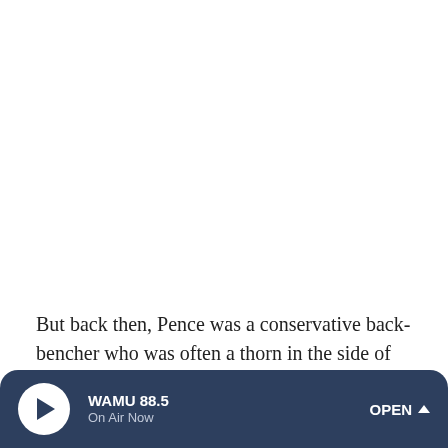But back then, Pence was a conservative back-bencher who was often a thorn in the side of the Bush administration. He voted against many of Bush's major initiatives, like the
WAMU 88.5 On Air Now | OPEN